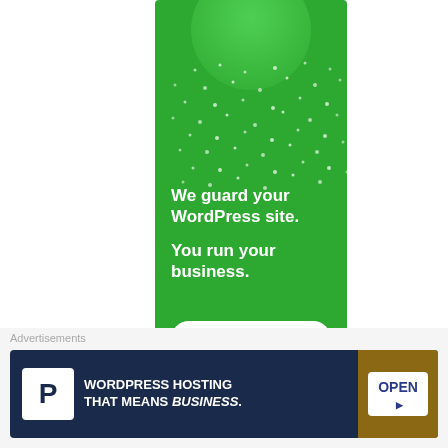[Figure (illustration): Green advertisement banner for WordPress security service with decorative dots, headline 'We guard your WordPress site. You run your business.' and a 'Secure Your Site' CTA button]
Advertisements
[Figure (illustration): Dark blue banner advertisement for WordPress Hosting with P logo, text 'WORDPRESS HOSTING THAT MEANS BUSINESS.' and an image of an OPEN sign]